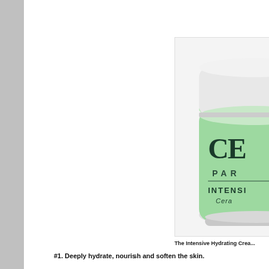[Figure (photo): A glass jar of Cerave Paris Intensive Hydrating Cream with a white lid and light green body, partially cropped on the right side. The jar label shows 'CE' (truncated), 'PAR' (truncated), 'INTENSIVE', and 'Cera' (truncated).]
The Intensive Hydrating Crea...
#1. Deeply hydrate, nourish and soften the skin.